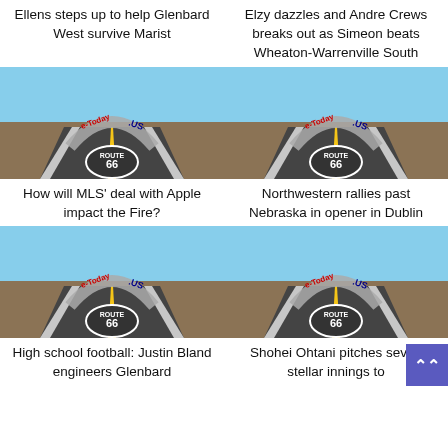Ellens steps up to help Glenbard West survive Marist
Elzy dazzles and Andre Crews breaks out as Simeon beats Wheaton-Warrenville South
[Figure (photo): Road with Route 66 marking and e-Today.US logo arch]
[Figure (photo): Road with Route 66 marking and e-Today.US logo arch]
How will MLS' deal with Apple impact the Fire?
Northwestern rallies past Nebraska in opener in Dublin
[Figure (photo): Road with Route 66 marking and e-Today.US logo arch]
[Figure (photo): Road with Route 66 marking and e-Today.US logo arch]
High school football: Justin Bland engineers Glenbard
Shohei Ohtani pitches seven stellar innings to